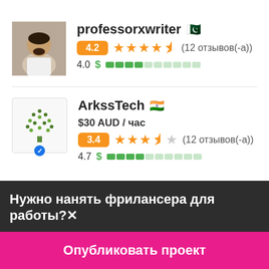[Figure (photo): Profile photo of professorxwriter - man in white shirt]
professorxwriter 🇵🇰
4.2 ★★★★½ (12 отзывов(-а))
4.0 $ ████░░░░░░
[Figure (logo): ArkssTech logo - green tree with dots]
ArkssTech 🇮🇳
$30 AUD / час
3.4 ★★★½☆ (12 отзывов(-а))
4.7 $ ████░░░░░░
Нужно нанять фрилансера для работы?✕
Опубликовать проект